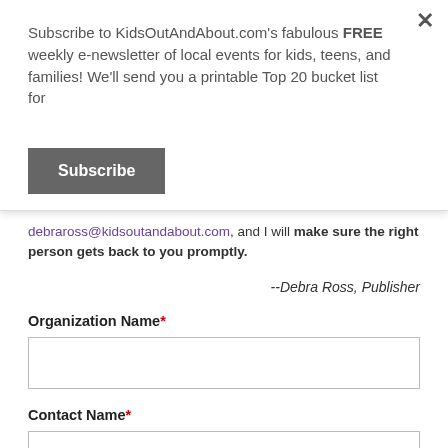Subscribe to KidsOutAndAbout.com's fabulous FREE weekly e-newsletter of local events for kids, teens, and families! We'll send you a printable Top 20 bucket list for
Subscribe
debraross@kidsoutandabout.com, and I will make sure the right person gets back to you promptly.
--Debra Ross, Publisher
Organization Name*
Contact Name*